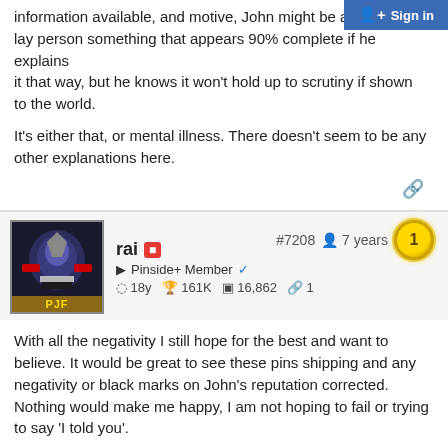information available, and motive, John might be ab... lay person something that appears 90% complete if he explains it that way, but he knows it won't hold up to scrutiny if shown to the world.
It's either that, or mental illness. There doesn't seem to be any other explanations here.
rai #7208 7 years Pinside+ Member 18y 161K 16,862 1
With all the negativity I still hope for the best and want to believe. It would be great to see these pins shipping and any negativity or black marks on John's reputation corrected. Nothing would make me happy, I am not hoping to fail or trying to say 'I told you'.
I'm a glass is half empty guy and I need to be shown something, or else I assume there to be nothing.
Also, this type of development would go over better if John did